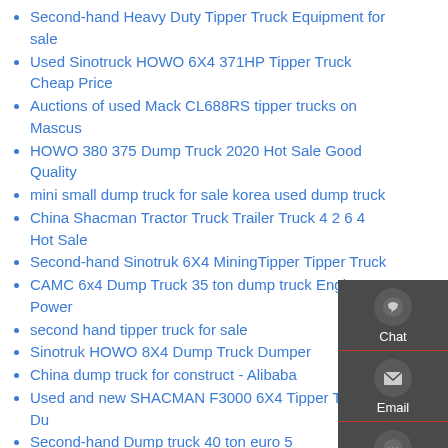Second-hand Heavy Duty Tipper Truck Equipment for sale
Used Sinotruck HOWO 6X4 371HP Tipper Truck Cheap Price
Auctions of used Mack CL688RS tipper trucks on Mascus
HOWO 380 375 Dump Truck 2020 Hot Sale Good Quality
mini small dump truck for sale korea used dump truck
China Shacman Tractor Truck Trailer Truck 4 2 6 4 Hot Sale
Second-hand Sinotruk 6X4 MiningTipper Tipper Truck
CAMC 6x4 Dump Truck 35 ton dump truck Engine Power
second hand tipper truck for sale
Sinotruk HOWO 8X4 Dump Truck Dumper
China dump truck for construct - Alibaba
Used and new SHACMAN F3000 6X4 Tipper Truck Du
Second-hand Dump truck 40 ton euro 5
Used China 50 Ton Mining Tipper Truck 336 Horsepower Vehicle - China
Second-Hand China Shacman H3000 8 4 380HP Mini Tipper Truck
Used FAW J6 10 wheels 30 ton Dump Dump truck
[Figure (infographic): Sidebar widget with Chat (headset icon), Email (envelope icon), Contact (speech bubble icon), and Top (up arrow) buttons on a dark grey background with red dividers]